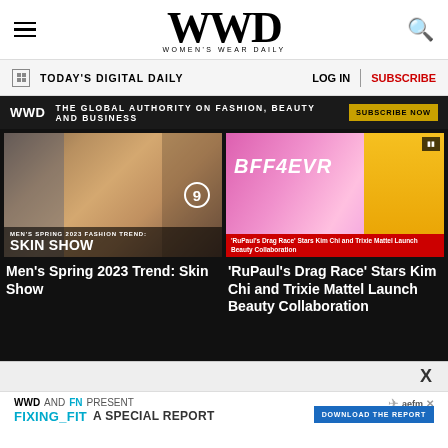WWD WOMEN'S WEAR DAILY
TODAY'S DIGITAL DAILY | LOG IN | SUBSCRIBE
WWD THE GLOBAL AUTHORITY ON FASHION, BEAUTY AND BUSINESS SUBSCRIBE NOW
[Figure (screenshot): Men's Spring 2023 Trend article thumbnail showing male model with face paint and patterned garment. Overlay text: MEN'S SPRING 2023 FASHION TREND: SKIN SHOW]
Men's Spring 2023 Trend: Skin Show
[Figure (screenshot): RuPaul's Drag Race article thumbnail showing two drag queens (Kim Chi and Trixie Mattel) in bright pink and yellow outfits. Text overlay: BFF4EVR. Red banner: 'RuPaul's Drag Race' Stars Kim Chi and Trixie Mattel Launch Beauty Collaboration]
'RuPaul's Drag Race' Stars Kim Chi and Trixie Mattel Launch Beauty Collaboration
X
WWD AND FN PRESENT FIXING_FIT A SPECIAL REPORT DOWNLOAD THE REPORT